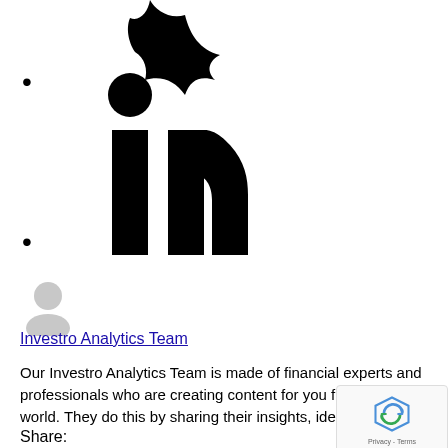[Figure (logo): LinkedIn logo (black 'in' text with decorative element at top)]
•
•
[Figure (illustration): Generic user avatar icon in gray]
Investro Analytics Team
Our Investro Analytics Team is made of financial experts and professionals who are creating content for you from all around the world. They do this by sharing their insights, ideas...
Share: